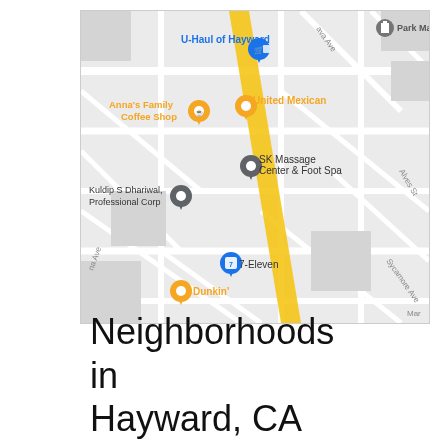[Figure (map): Google Maps screenshot showing an area in Hayward, CA. A yellow highlighted road runs diagonally through the center. Visible locations include U-Haul of Hayward (blue pin with shopping bag), Anna's Family Coffee Shop (orange pin with coffee cup), United Mexican (orange pin with fork/knife), SK Massage Center & Foot Spa (gray pin), Kuldip S Dhariwal Professional Corp (gray pin), 7-Eleven (blue pin), Dunkin' (orange pin with coffee cup), and Park Manor (gray building icon). Street labels visible: Alves St, Sycamore Ave, and partial street names.]
Neighborhoods in Hayward, CA